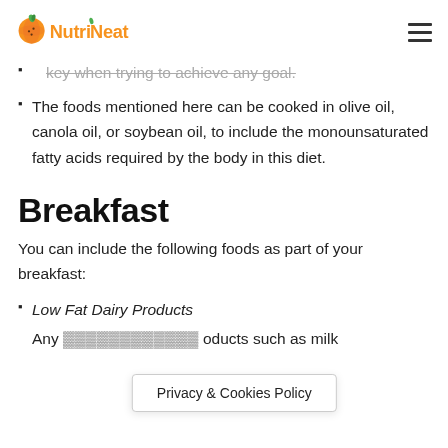NutriNeat
key when trying to achieve any goal.
The foods mentioned here can be cooked in olive oil, canola oil, or soybean oil, to include the monounsaturated fatty acids required by the body in this diet.
Breakfast
You can include the following foods as part of your breakfast:
Low Fat Dairy Products
Any [obscured by cookie banner] oducts such as milk [cut off]
Privacy & Cookies Policy